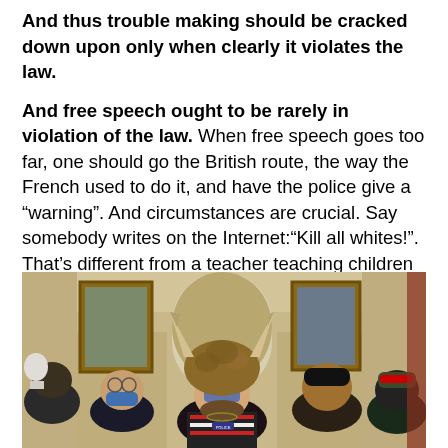And thus trouble making should be cracked down upon only when clearly it violates the law.
And free speech ought to be rarely in violation of the law. When free speech goes too far, one should go the British route, the way the French used to do it, and have the police give a “warning”. And circumstances are crucial. Say somebody writes on the Internet:“Kill all whites!”. That’s different from a teacher teaching children with:“Kill all whites!”
[Figure (photo): Photo of a crowd of people inside what appears to be a government building (the US Capitol). In the center is a person wearing a fur and horned hat with face paint. Others around wear various hats and masks. Ornate gold-framed portraits hang on the walls in the background, with arched doorways and classical architectural details visible.]